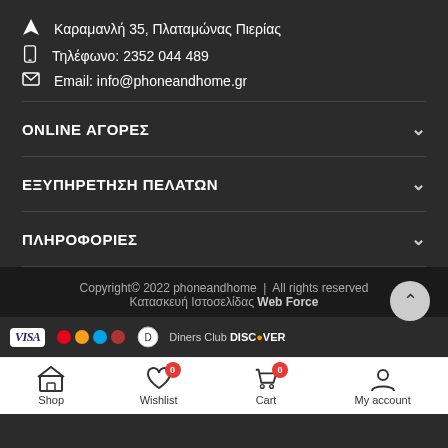Καραμανλή 35, Πλαταμώνας Πιερίας
Τηλέφωνο: 2352 044 489
Email: info@phoneandhome.gr
ONLINE ΑΓΟΡΕΣ
ΕΞΥΠΗΡΕΤΗΣΗ ΠΕΛΑΤΩΝ
ΠΛΗΡΟΦΟΡΙΕΣ
Copyright© 2022 phoneandhome | All rights reserved
Κατασκευή Ιστοσελίδας Web Force
Shop  Wishlist 0  Cart 0  My account